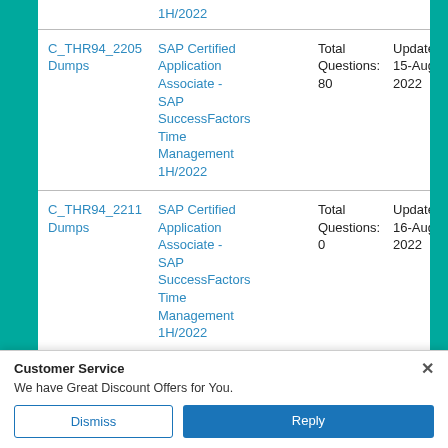| Exam Code | Exam Title | Total Questions | Updated |
| --- | --- | --- | --- |
| C_THR94_2205 Dumps | SAP Certified Application Associate - SAP SuccessFactors Time Management 1H/2022 | Total Questions: 80 | Updated: 15-Aug-2022 |
| C_THR94_2211 Dumps | SAP Certified Application Associate - SAP SuccessFactors Time Management 1H/2022 | Total Questions: 0 | Updated: 16-Aug-2022 |
Customer Service
We have Great Discount Offers for You.